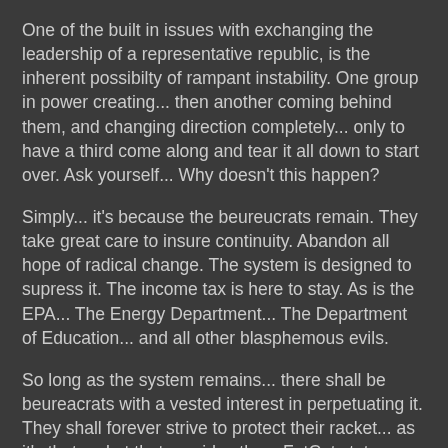One of the built in issues with exchanging the leadership of a representative republic, is the inherent possibilty of rampant instability. One group in power creating... then another coming behind them, and changing direction completely... only to have a third come along and tear it all down to start over. Ask yourself... Why doesn't this happen?
Simply... it's because the beureucrats remain. They take great care to insure continuity. Abandon all hope of radical change. The system is designed to supress it. The income tax is here to stay. As is the EPA... The Energy Department... The Department of Education... and all other blasphemous evils.
So long as the system remains... there shall be beureacrats with a vested interest in perpetuating it. They shall forever strive to protect their racket... as it's that racket that provides them FatCat status. They cannot allow a program to be cut... because that would eliminate some section of their own... and if one department goes... who's to say that their own department may not be next?